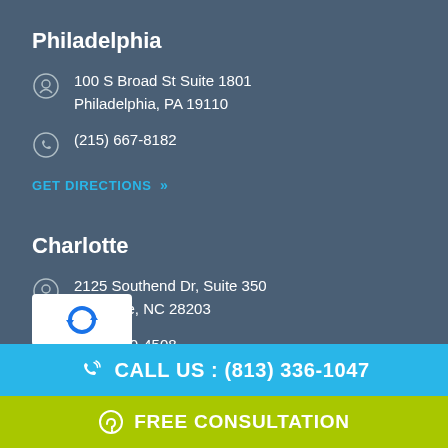Philadelphia
100 S Broad St Suite 1801
Philadelphia, PA 19110
(215) 667-8182
GET DIRECTIONS »
Charlotte
2125 Southend Dr, Suite 350
Charlotte, NC 28203
(704) 440-4508
GET DIRECTIONS »
[Figure (logo): reCAPTCHA logo widget]
CALL US : (813) 336-1047
FREE CONSULTATION